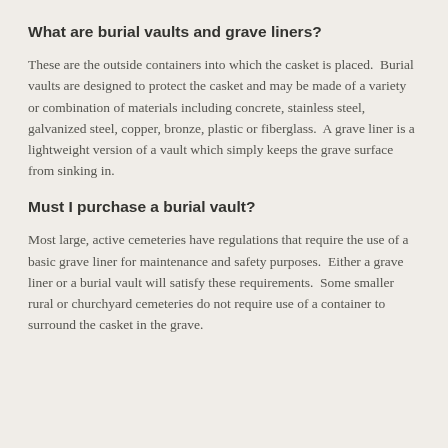What are burial vaults and grave liners?
These are the outside containers into which the casket is placed.  Burial vaults are designed to protect the casket and may be made of a variety or combination of materials including concrete, stainless steel, galvanized steel, copper, bronze, plastic or fiberglass.  A grave liner is a lightweight version of a vault which simply keeps the grave surface from sinking in.
Must I purchase a burial vault?
Most large, active cemeteries have regulations that require the use of a basic grave liner for maintenance and safety purposes.  Either a grave liner or a burial vault will satisfy these requirements.  Some smaller rural or churchyard cemeteries do not require use of a container to surround the casket in the grave.